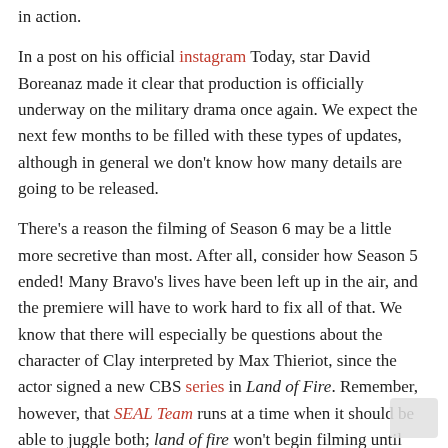in action.
In a post on his official instagram Today, star David Boreanaz made it clear that production is officially underway on the military drama once again. We expect the next few months to be filled with these types of updates, although in general we don't know how many details are going to be released.
There's a reason the filming of Season 6 may be a little more secretive than most. After all, consider how Season 5 ended! Many Bravo's lives have been left up in the air, and the premiere will have to work hard to fix all of that. We know that there will especially be questions about the character of Clay interpreted by Max Thieriot, since the actor signed a new CBS series in Land of Fire. Remember, however, that SEAL Team runs at a time when it should be able to juggle both; land of fire won't begin filming until later in the summer and won't premiere until the fall.
So when does SEAL Team himself return for season 6? Fall